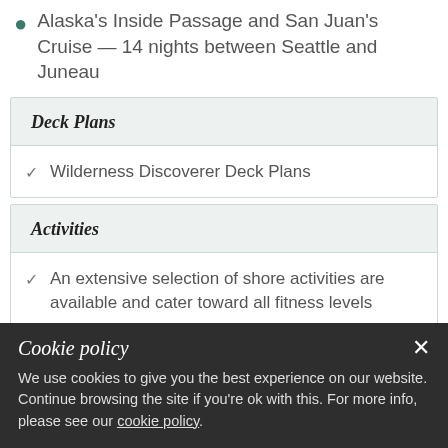Alaska's Inside Passage and San Juan's Cruise — 14 nights between Seattle and Juneau
Deck Plans
Wilderness Discoverer Deck Plans
Activities
An extensive selection of shore activities are available and cater toward all fitness levels
Kayaking
Cookie policy
We use cookies to give you the best experience on our website. Continue browsing the site if you're ok with this. For more info, please see our cookie policy.